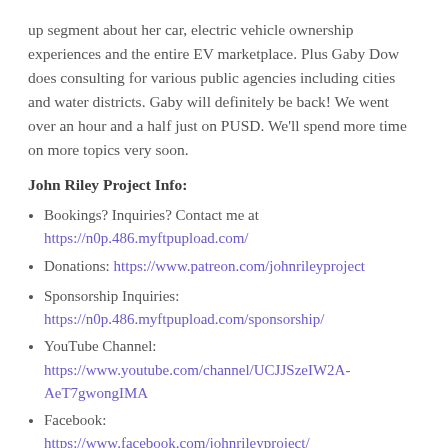up segment about her car, electric vehicle ownership experiences and the entire EV marketplace.  Plus Gaby Dow does consulting for various public agencies including cities and water districts.  Gaby will definitely be back!  We went over an hour and a half just on PUSD.  We'll spend more time on more topics very soon.
John Riley Project Info:
Bookings? Inquiries? Contact me at https://n0p.486.myftpupload.com/
Donations: https://www.patreon.com/johnrileyproject
Sponsorship Inquiries: https://n0p.486.myftpupload.com/sponsorship/
YouTube Channel: https://www.youtube.com/channel/UCJJSzeIW2A-AeT7gwongIMA
Facebook: https://www.facebook.com/johnrileyproject/